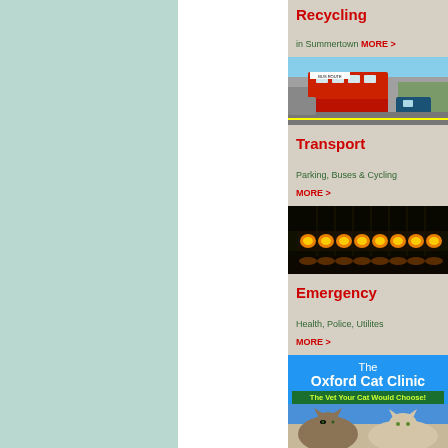[Figure (illustration): Left teal/mint colored sidebar panel]
Recycling
in Summertown MORE >
[Figure (photo): Street scene with red double-decker bus and cars in traffic]
Transport
Parking, Buses & Cycling MORE >
[Figure (photo): Dark photo of illuminated train or emergency vehicle lights at night]
Emergency
Health, Police, Utilites MORE >
[Figure (photo): The Oxford Cat Clinic advertisement with blue background showing cats, text: The Oxford Cat Clinic - The Vet Your Cat Would Choose!]